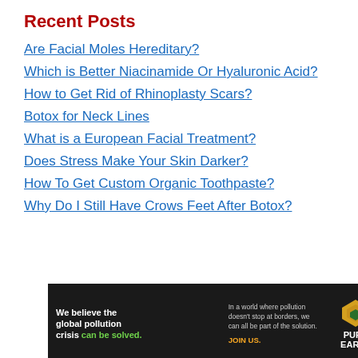Recent Posts
Are Facial Moles Hereditary?
Which is Better Niacinamide Or Hyaluronic Acid?
How to Get Rid of Rhinoplasty Scars?
Botox for Neck Lines
What is a European Facial Treatment?
Does Stress Make Your Skin Darker?
How To Get Custom Organic Toothpaste?
Why Do I Still Have Crows Feet After Botox?
[Figure (other): Pure Earth advertisement banner: 'We believe the global pollution crisis can be solved. In a world where pollution doesn't stop at borders, we can all be part of the solution. JOIN US.' with Pure Earth logo.]